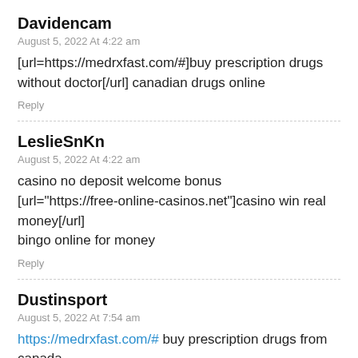Davidencam
August 5, 2022 At 4:22 am
[url=https://medrxfast.com/#]buy prescription drugs without doctor[/url] canadian drugs online
Reply
LeslieSnKn
August 5, 2022 At 4:22 am
casino no deposit welcome bonus [url="https://free-online-casinos.net"]casino win real money[/url] bingo online for money
Reply
Dustinsport
August 5, 2022 At 7:54 am
https://medrxfast.com/# buy prescription drugs from canada